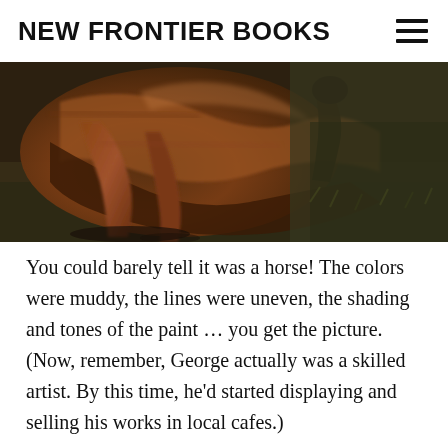NEW FRONTIER BOOKS
[Figure (photo): Close-up painting of a brown horse's legs and body in motion, with muddy earth-tone colors, blurred and dynamic brushwork.]
You could barely tell it was a horse! The colors were muddy, the lines were uneven, the shading and tones of the paint ... you get the picture. (Now, remember, George actually was a skilled artist. By this time, he'd started displaying and selling his works in local cafes.)
No matter what George tried, that brown horse was unfixable. There just wasn't enough paint in the world – or an artist skilled enough – to make it look